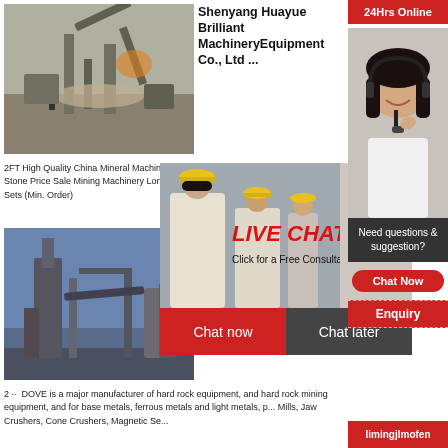[Figure (photo): Industrial mining/crushing plant facility, outdoor, grey tones]
Shenyang Huayue Brilliant MachineryEquipment Co., Ltd ...
2FT High Quality China Mineral Machine of Symons Cone Crusher Crushing Plant Stone Price Sale Mining Machinery Long Life $4,500.00 - $100,000.00 / Set 1.0 Sets (Min. Order)
[Figure (photo): Live Chat overlay popup with workers in hard hats, Chat now and Chat later buttons]
[Figure (photo): Industrial mining equipment/machinery against blue sky]
Mining Equip Diamond Min Equipment
2 ··  DOVE is a major manufacturer of hard rock equipment, and hard rock mining equipment, and for base metals, ferrous metals and light metals, p... Mills, Jaw Crushers, Cone Crushers, Magnetic Se...